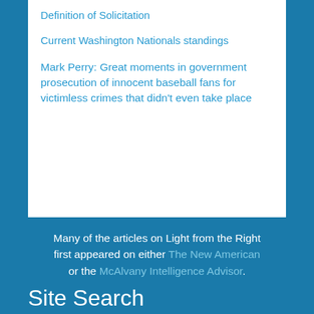Definition of Solicitation
Current Washington Nationals standings
Mark Perry: Great moments in government prosecution of innocent baseball fans for victimless crimes that didn't even take place
Many of the articles on Light from the Right first appeared on either The New American or the McAlvany Intelligence Advisor.
Site Search